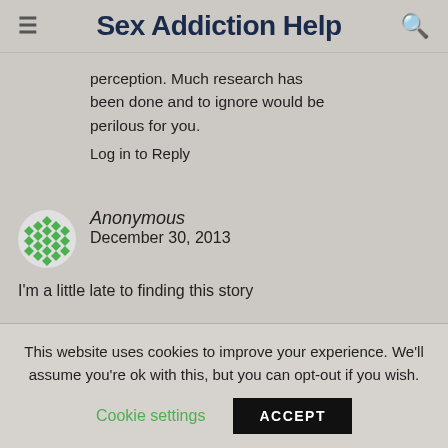Sex Addiction Help
perception. Much research has been done and to ignore would be perilous for you.
Log in to Reply
Anonymous
December 30, 2013
I'm a little late to finding this story
This website uses cookies to improve your experience. We'll assume you're ok with this, but you can opt-out if you wish.
Cookie settings  ACCEPT